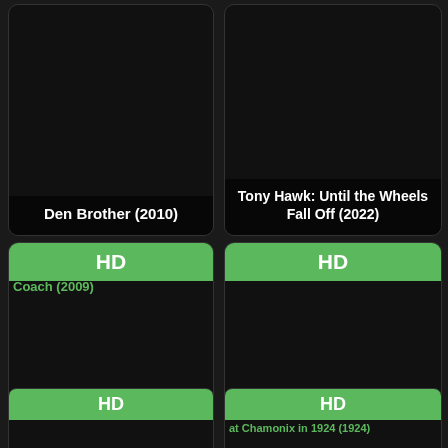[Figure (screenshot): Movie thumbnail card for Den Brother (2010), dark background]
Den Brother (2010)
[Figure (screenshot): Movie thumbnail card for Tony Hawk: Until the Wheels Fall Off (2022), dark background]
Tony Hawk: Until the Wheels Fall Off (2022)
[Figure (screenshot): Movie thumbnail card for Balls Out: Gary the Tennis Coach (2009) with HD banner]
Balls Out: Gary the Tennis Coach (2009)
[Figure (screenshot): Movie thumbnail card for Surfwise (2007) with HD banner]
Surfwise (2007)
[Figure (screenshot): Partial movie thumbnail with HD banner, bottom row left]
[Figure (screenshot): Partial movie thumbnail with HD banner, at Chamonix in 1924 (1924), bottom row right]